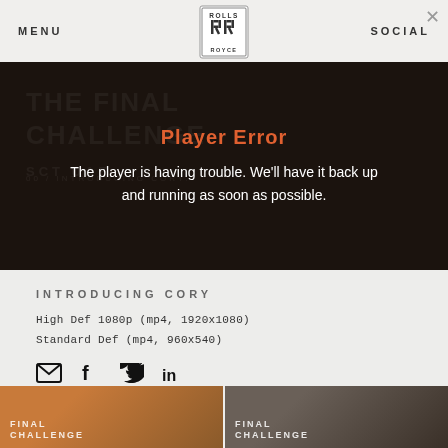MENU   [Rolls-Royce Logo]   SOCIAL
[Figure (screenshot): Video player area showing a dark background with ghost text 'THE FINAL CHALLENGE SCT UAE' and subtitle '00 / INTRODUCING CORY.' overlaid with a player error message: 'Player Error — The player is having trouble. We'll have it back up and running as soon as possible.']
INTRODUCING CORY
High Def 1080p (mp4, 1920x1080)
Standard Def (mp4, 960x540)
[Figure (infographic): Social share icons: email (envelope), Facebook (f), Twitter (bird), LinkedIn (in)]
[Figure (photo): Two thumbnail images at bottom: left showing orange/mechanical detail with text 'FINAL CHALLENGE', right showing person's profile with text 'FINAL CHALLENGE']